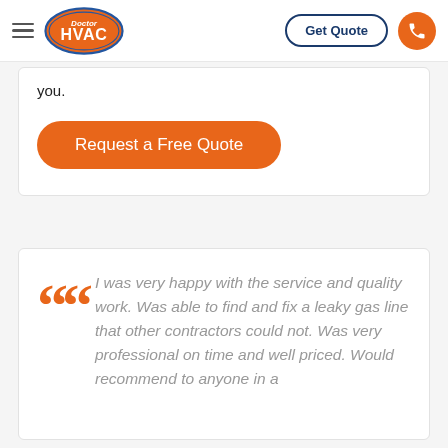Doctor HVAC | Get Quote
you.
Request a Free Quote
I was very happy with the service and quality work. Was able to find and fix a leaky gas line that other contractors could not. Was very professional on time and well priced. Would recommend to anyone in a